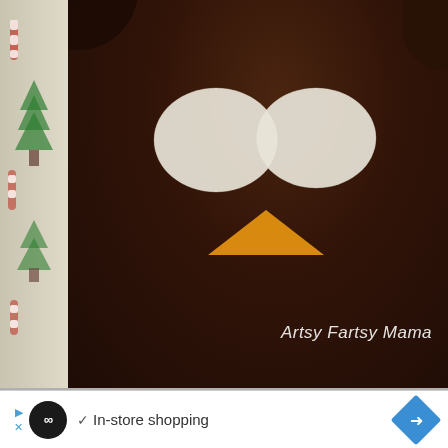[Figure (photo): A dark brown t-shirt with two white oval felt shapes (eyes) and one orange/yellow triangle felt shape (beak) applied to form a simple turkey or owl face. The shirt is laid flat. 'Artsy Fartsy Mama' watermark text appears in white handwritten-style font at the bottom right of the image. A decorative fabric/wrapping paper with red and green holiday print is partially visible on the left side.]
Artsy Fartsy Mama
In-store shopping